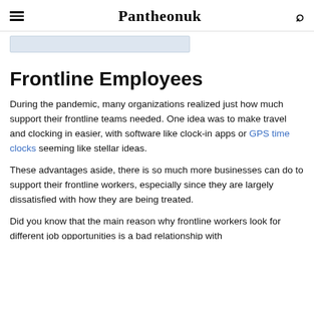Pantheonuk
[Figure (screenshot): Partial image strip at top of article]
Frontline Employees
During the pandemic, many organizations realized just how much support their frontline teams needed. One idea was to make travel and clocking in easier, with software like clock-in apps or GPS time clocks seeming like stellar ideas.
These advantages aside, there is so much more businesses can do to support their frontline workers, especially since they are largely dissatisfied with how they are being treated.
Did you know that the main reason why frontline workers look for different job opportunities is a bad relationship with